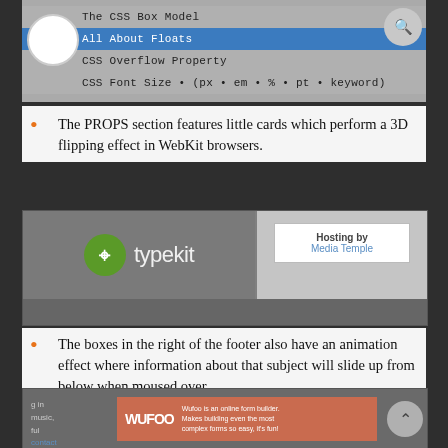[Figure (screenshot): CSS tutorial navigation menu showing items: The CSS Box Model, All About Floats (highlighted blue), CSS Overflow Property, CSS Font Size (px, em, %, pt, keyword)]
The PROPS section features little cards which perform a 3D flipping effect in WebKit browsers.
[Figure (screenshot): Screenshot showing Typekit logo on left with green circle icon and text 'typekit', and a card on right saying 'Hosting by Media Temple']
The boxes in the right of the footer also have an animation effect where information about that subject will slide up from below when moused over.
[Figure (screenshot): Screenshot showing Wufoo online form builder advertisement card with orange background, Wufoo logo, and text about online form building]